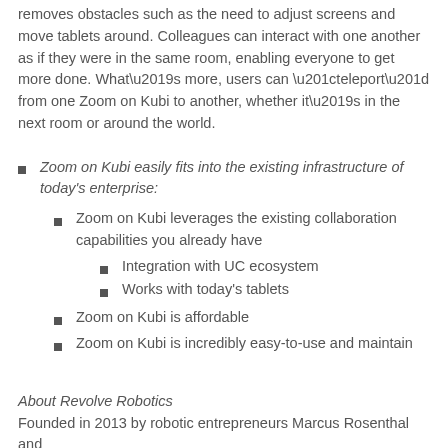removes obstacles such as the need to adjust screens and move tablets around. Colleagues can interact with one another as if they were in the same room, enabling everyone to get more done. What’s more, users can “teleport” from one Zoom on Kubi to another, whether it’s in the next room or around the world.
Zoom on Kubi easily fits into the existing infrastructure of today’s enterprise:
Zoom on Kubi leverages the existing collaboration capabilities you already have
Integration with UC ecosystem
Works with today’s tablets
Zoom on Kubi is affordable
Zoom on Kubi is incredibly easy-to-use and maintain
About Revolve Robotics
Founded in 2013 by robotic entrepreneurs Marcus Rosenthal and